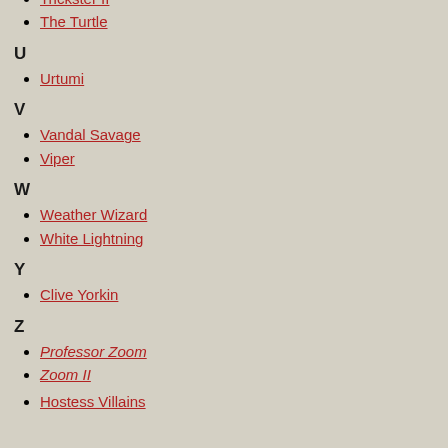Trickster I
Trickster II
The Turtle
U
Urtumi
V
Vandal Savage
Viper
W
Weather Wizard
White Lightning
Y
Clive Yorkin
Z
Professor Zoom
Zoom II
Hostess Villains